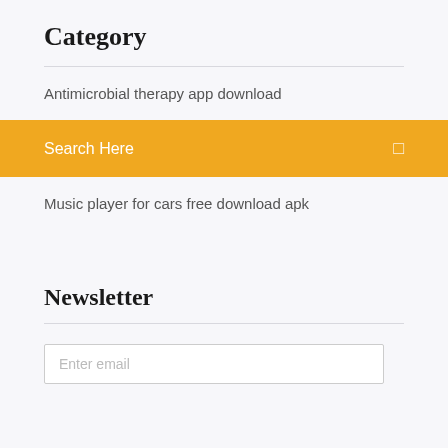Category
Antimicrobial therapy app download
Search Here
Music player for cars free download apk
Newsletter
Enter email